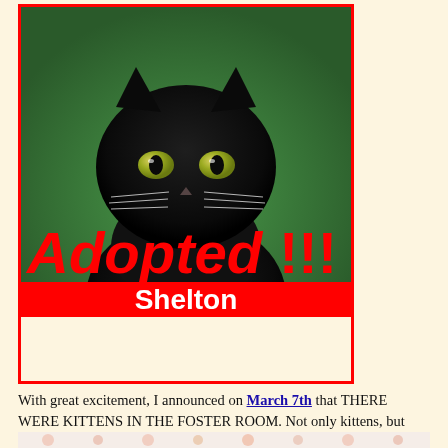[Figure (photo): Black kitten with golden-green eyes sitting on a green background, with red 'Adopted!!!' text overlay and a red banner at the bottom with white text reading 'Shelton']
With great excitement, I announced on March 7th that THERE WERE KITTENS IN THE FOSTER ROOM. Not only kittens, but WEE BABY KITTENS. Newborns! Well, nearly newborns – they were three days old.
[Figure (photo): Partial view of a flamingo-patterned fabric or blanket in pink, white and yellow colors]